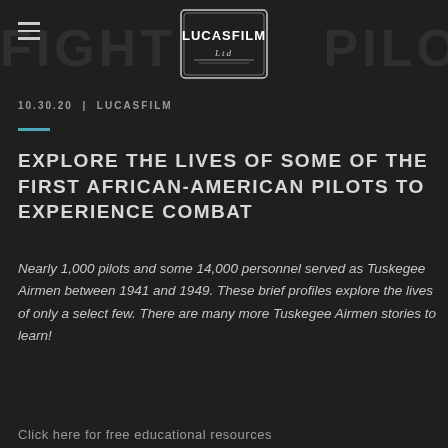LUCASFILM Ltd
10.30.20 | LUCASFILM
EXPLORE THE LIVES OF SOME OF THE FIRST AFRICAN-AMERICAN PILOTS TO EXPERIENCE COMBAT
Nearly 1,000 pilots and some 14,000 personnel served as Tuskegee Airmen between 1941 and 1949. These brief profiles explore the lives of only a select few. There are many more Tuskegee Airmen stories to learn!
Click here for free educational resources